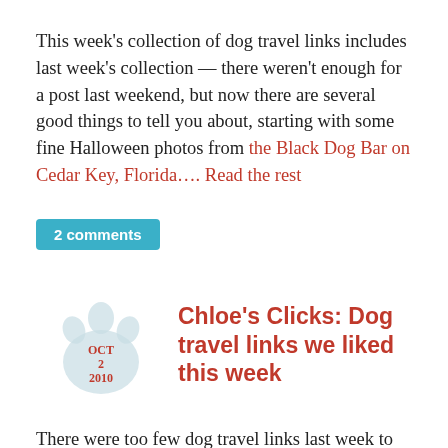This week's collection of dog travel links includes last week's collection — there weren't enough for a post last weekend, but now there are several good things to tell you about, starting with some fine Halloween photos from the Black Dog Bar on Cedar Key, Florida…. Read the rest
2 comments
[Figure (illustration): Paw print icon in light blue/grey with date OCT 2 2010 inside]
Chloe's Clicks: Dog travel links we liked this week
There were too few dog travel links last week to merit an entire Chloe's Clicks post, so that means that this week's post will be longer than